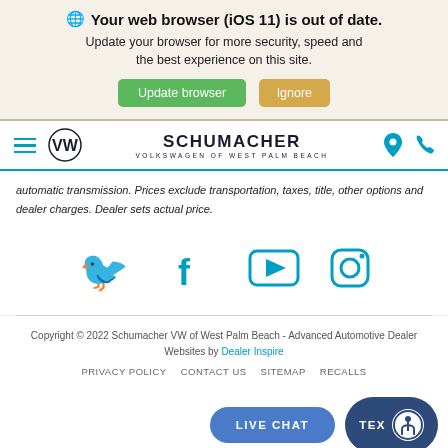Your web browser (iOS 11) is out of date. Update your browser for more security, speed and the best experience on this site.
[Figure (screenshot): Browser update warning banner with Update browser (green) and Ignore (tan) buttons]
SCHUMACHER VOLKSWAGEN OF WEST PALM BEACH — navigation bar with hamburger menu, VW logo, location pin, and phone icon
automatic transmission. Prices exclude transportation, taxes, title, other options and dealer charges. Dealer sets actual price.
[Figure (infographic): Social media icons: Twitter, Facebook, YouTube, Instagram in teal/cyan color]
Copyright © 2022 Schumacher VW of West Palm Beach - Advanced Automotive Dealer Websites by Dealer Inspire
PRIVACY POLICY   CONTACT US   SITEMAP   RECALLS
[Figure (screenshot): LIVE CHAT button (blue rounded) and TEX[T] button with accessibility icon (dark blue rounded)]